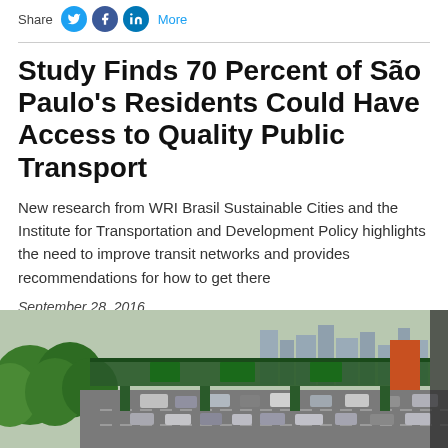Share  More
Study Finds 70 Percent of São Paulo's Residents Could Have Access to Quality Public Transport
New research from WRI Brasil Sustainable Cities and the Institute for Transportation and Development Policy highlights the need to improve transit networks and provides recommendations for how to get there
September 28, 2016
[Figure (photo): Aerial view of a busy highway in São Paulo with green trees on the left, vehicles in traffic, an overpass bridge with green signage, and urban buildings in the background.]